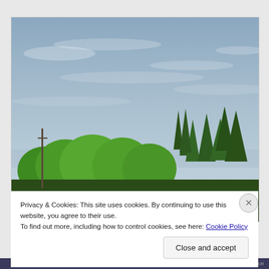[Figure (photo): Outdoor photograph showing a blue-grey sky with wispy clouds and a row of green trees (deciduous and coniferous) in the lower portion of the image. A utility pole is visible on the left side.]
Privacy & Cookies: This site uses cookies. By continuing to use this website, you agree to their use.
To find out more, including how to control cookies, see here: Cookie Policy
Close and accept
HUFFPOST.KR